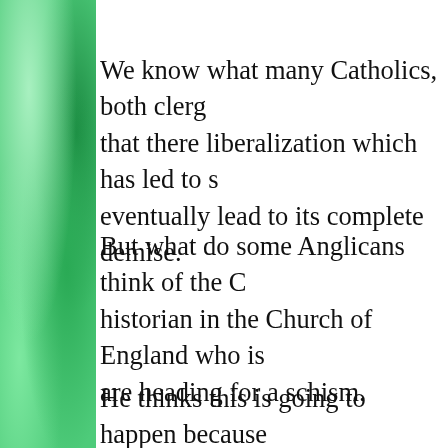We know what many Catholics, both clergy and laity, think: that there liberalization which has led to such declines will eventually lead to its complete demise.
But what do some Anglicans think of the Catholic historian in the Church of England who is saying they are heading for a schism.
He thinks this is going to happen because of Pope John Paul II and Pope Benedict which tried to maintain continuity with traditional, historic Catholic...
But the Catholic Church faces ridicule from... have joined the fads and trends of godless...